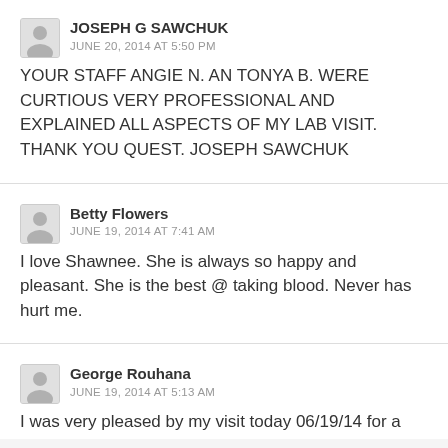JOSEPH G SAWCHUK
JUNE 20, 2014 AT 5:50 PM
YOUR STAFF ANGIE N. AN TONYA B. WERE CURTIOUS VERY PROFESSIONAL AND EXPLAINED ALL ASPECTS OF MY LAB VISIT. THANK YOU QUEST. JOSEPH SAWCHUK
Betty Flowers
JUNE 19, 2014 AT 7:41 AM
I love Shawnee. She is always so happy and pleasant. She is the best @ taking blood. Never has hurt me.
George Rouhana
JUNE 19, 2014 AT 5:13 AM
I was very pleased by my visit today 06/19/14 for a